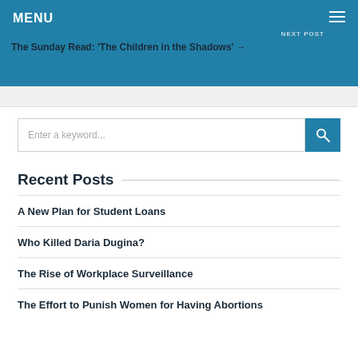MENU
NEXT POST
The Sunday Read: 'The Children in the Shadows' →
[Figure (screenshot): Search input box with blue search button containing a magnifying glass icon]
Recent Posts
A New Plan for Student Loans
Who Killed Daria Dugina?
The Rise of Workplace Surveillance
The Effort to Punish Women for Having Abortions